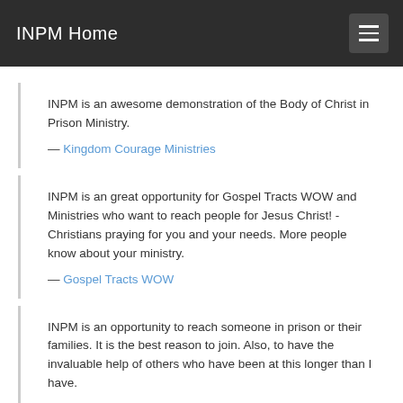INPM Home
INPM is an awesome demonstration of the Body of Christ in Prison Ministry.
— Kingdom Courage Ministries
INPM is an great opportunity for Gospel Tracts WOW and Ministries who want to reach people for Jesus Christ! - Christians praying for you and your needs. More people know about your ministry.
— Gospel Tracts WOW
INPM is an opportunity to reach someone in prison or their families. It is the best reason to join. Also, to have the invaluable help of others who have been at this longer than I have.